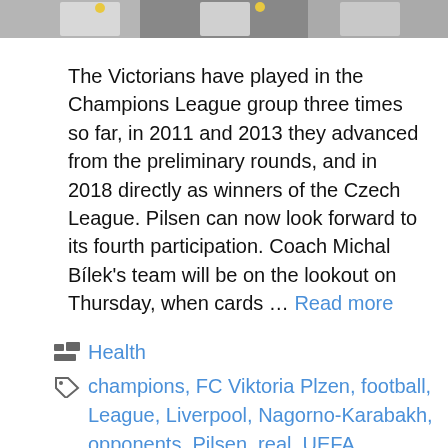[Figure (photo): Cropped photo strip at top showing people in white jerseys with medals, partial view of athletes celebrating]
The Victorians have played in the Champions League group three times so far, in 2011 and 2013 they advanced from the preliminary rounds, and in 2018 directly as winners of the Czech League. Pilsen can now look forward to its fourth participation. Coach Michal Bílek's team will be on the lookout on Thursday, when cards … Read more
Health
champions, FC Viktoria Plzen, football, League, Liverpool, Nagorno-Karabakh, opponents, Pilsen, real, UEFA Champions League